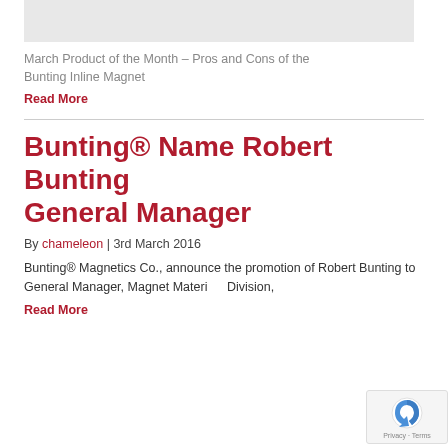[Figure (photo): Cropped image placeholder, light gray background]
March Product of the Month – Pros and Cons of the Bunting Inline Magnet
Read More
Bunting® Name Robert Bunting General Manager
By chameleon | 3rd March 2016
Bunting® Magnetics Co., announce the promotion of Robert Bunting to General Manager, Magnet Materials Division,
Read More